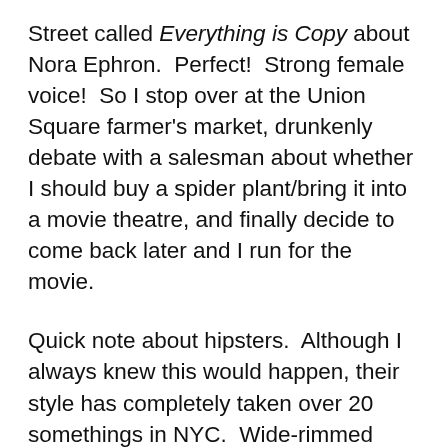Street called Everything is Copy about Nora Ephron.  Perfect!  Strong female voice!  So I stop over at the Union Square farmer's market, drunkenly debate with a salesman about whether I should buy a spider plant/bring it into a movie theatre, and finally decide to come back later and I run for the movie.
Quick note about hipsters.  Although I always knew this would happen, their style has completely taken over 20 somethings in NYC.  Wide-rimmed glasses, oddly-fitting pants, jaded expression.  But if this fashion movement was supposed to be fighting the norm, and now it is the norm, does that make me the different edgy one?  Are my cotton-y dresses and safe haircut the anti-